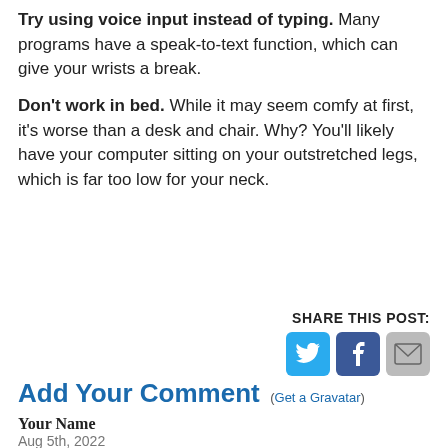Try using voice input instead of typing. Many programs have a speak-to-text function, which can give your wrists a break.
Don't work in bed. While it may seem comfy at first, it's worse than a desk and chair. Why? You'll likely have your computer sitting on your outstretched legs, which is far too low for your neck.
SHARE THIS POST:
[Figure (infographic): Three social share buttons: Twitter (blue bird icon), Facebook (dark blue f icon), Email (grey envelope icon)]
Add Your Comment (Get a Gravatar)
Your Name
Aug 5th, 2022
4:51am